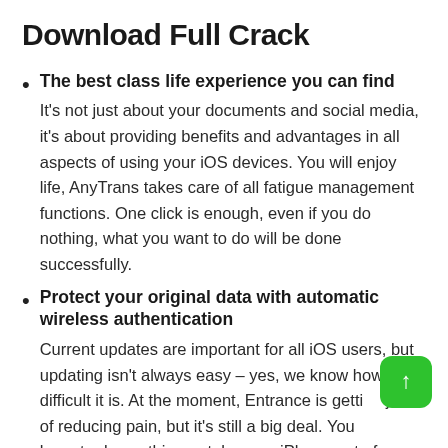Download Full Crack
The best class life experience you can find
It's not just about your documents and social media, it's about providing benefits and advantages in all aspects of using your iOS devices. You will enjoy life, AnyTrans takes care of all fatigue management functions. One click is enough, even if you do nothing, what you want to do will be done successfully.
Protect your original data with automatic wireless authentication
Current updates are important for all iOS users, but updating isn't always easy – yes, we know how difficult it is. At the moment, Entrance is getting job of reducing pain, but it's still a big deal. You don't have to do anything or take your iPhone out of your